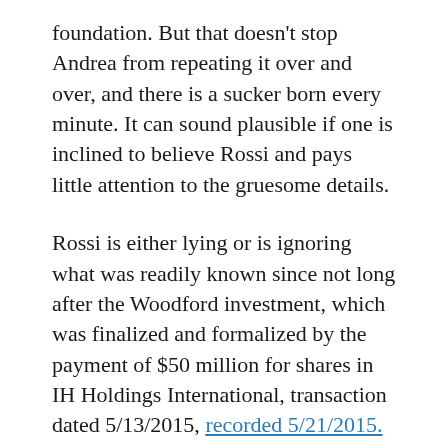foundation. But that doesn't stop Andrea from repeating it over and over, and there is a sucker born every minute. It can sound plausible if one is inclined to believe Rossi and pays little attention to the gruesome details.
Rossi is either lying or is ignoring what was readily known since not long after the Woodford investment, which was finalized and formalized by the payment of $50 million for shares in IH Holdings International, transaction dated 5/13/2015, recorded 5/21/2015. (Extensive IHHI data is accessible on the official U.K. corporation page.) By the time Rossi wrote the above, this was all common knowledge. So if he was paying attention, he'd